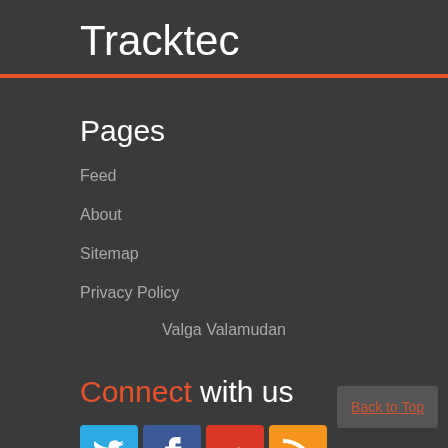Tracktec
Pages
Feed
About
Sitemap
Privacy Policy
Valga Valamudan
Connect with us
[Figure (other): Social media icons: Twitter (blue), Facebook (dark blue), Google+ (red), RSS (orange)]
Back to Top